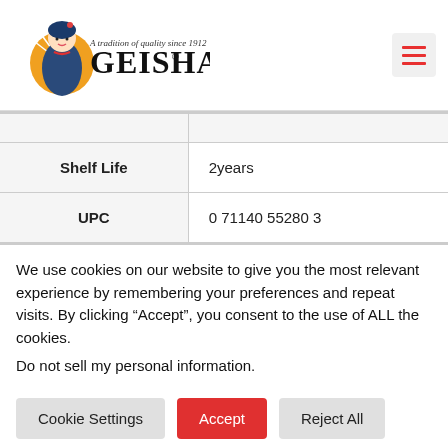[Figure (logo): Geisha brand logo with geisha illustration and text 'A tradition of quality since 1912']
| Shelf Life | 2years |
| UPC | 0 71140 55280 3 |
We use cookies on our website to give you the most relevant experience by remembering your preferences and repeat visits. By clicking “Accept”, you consent to the use of ALL the cookies.
Do not sell my personal information.
Cookie Settings | Accept | Reject All